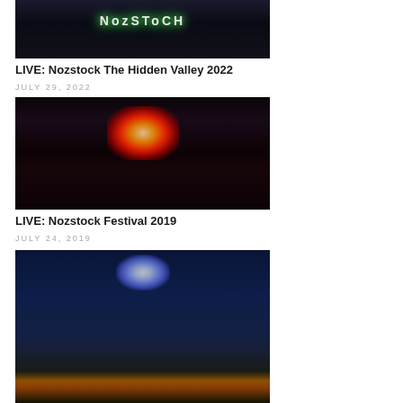[Figure (photo): Nozstock festival sign lit up at night with green glowing letters on dark background]
LIVE: Nozstock The Hidden Valley 2022
JULY 29, 2022
[Figure (photo): Concert crowd at night with bright stage lights illuminating audience from behind, red and orange lights from stage]
LIVE: Nozstock Festival 2019
JULY 24, 2019
[Figure (photo): Fireworks display at night festival with blue sky and orange bonfire lights, crowd visible in foreground]